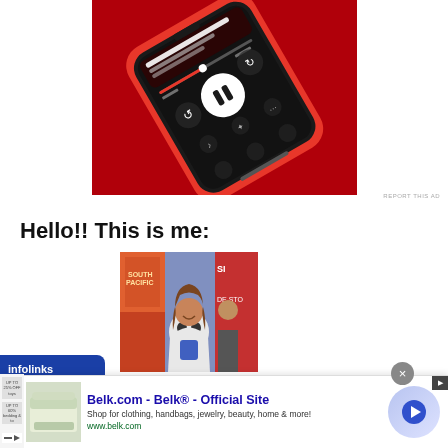[Figure (photo): A smartphone with a red case displaying a podcast/audio app interface on a red background. The screen shows audio controls including a pause button, rewind, and forward icons, with episode and show information text visible.]
REPORT THIS AD
Hello!! This is me:
[Figure (photo): A smiling woman with brown hair standing in front of colorful Broadway show posters including 'South Pacific' and 'West Side Story'.]
[Figure (other): Infolinks advertisement banner logo in blue.]
[Figure (other): Bottom advertisement banner for Belk.com - Belk Official Site. Shows text: 'Shop for clothing, handbags, jewelry, beauty, home & more!' and 'www.belk.com'. Includes a thumbnail image of bedding, small ad thumbnails on left, a blue circle arrow button on right, and a close X button.]